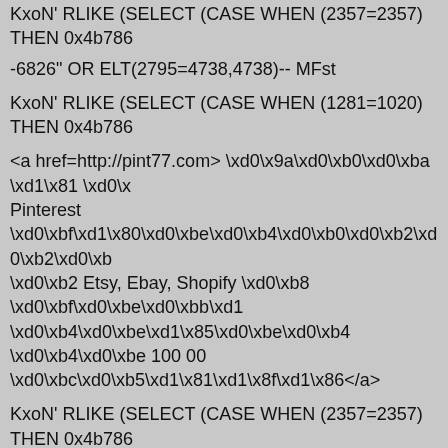KxoN' RLIKE (SELECT (CASE WHEN (2357=2357) THEN 0x4b78...
-6826" OR ELT(2795=4738,4738)-- MFst
KxoN' RLIKE (SELECT (CASE WHEN (1281=1020) THEN 0x4b786...
<a href=http://pint77.com> \xd0\x9a\xd0\xb0\xd0\xba \xd1\x81 \xd0\x... Pinterest \xd0\xbf\xd1\x80\xd0\xbe\xd0\xb4\xd0\xb0\xd0\xb2\xd0\xb... \xd0\xb2 Etsy, Ebay, Shopify \xd0\xb8 \xd0\xbf\xd0\xbe\xd0\xbb\xd1\... \xd0\xb4\xd0\xbe\xd1\x85\xd0\xbe\xd0\xb4 \xd0\xb4\xd0\xbe 100 00... \xd0\xbc\xd0\xb5\xd1\x81\xd1\x8f\xd1\x86</a>
KxoN' RLIKE (SELECT (CASE WHEN (2357=2357) THEN 0x4b786...
-3968" OR ELT(8301=8301,5400)-- tpuI
KxoN')) AS CAio WHERE 5895=5895 RLIKE (SELECT (CASE WHE...
-8443" OR ELT(2824=1111,1111)-- BPRa
KxoN')) AS qxbj WHERE 7964=7964 RLIKE (SELECT (CASE WHE...
-1356') OR ELT(1215=1053,1053) AND ('pYbN'='pYbN
KxoN")) AS wbnw WHERE 2940=2940 RLIKE (SELECT (CASE WH... LjqX